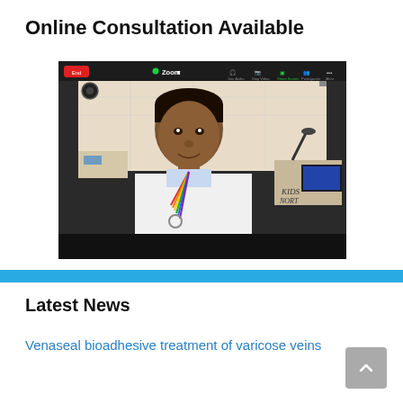Online Consultation Available
[Figure (photo): Screenshot of a Zoom video call showing a doctor in a white coat with a stethoscope and rainbow-colored lanyard, sitting in a medical office. The Zoom toolbar is visible at the top with a green dot and 'Zoom' label. The bottom of the image has a black bar.]
Latest News
Venaseal bioadhesive treatment of varicose veins